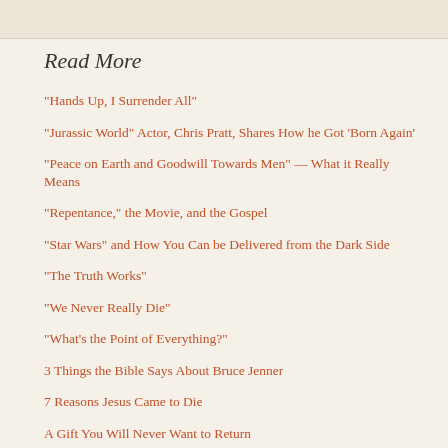Read More
“Hands Up, I Surrender All”
“Jurassic World” Actor, Chris Pratt, Shares How he Got ‘Born Again’
“Peace on Earth and Goodwill Towards Men” — What it Really Means
“Repentance,” the Movie, and the Gospel
“Star Wars” and How You Can be Delivered from the Dark Side
“The Truth Works”
“We Never Really Die”
“What’s the Point of Everything?”
3 Things the Bible Says About Bruce Jenner
7 Reasons Jesus Came to Die
A Gift You Will Never Want to Return